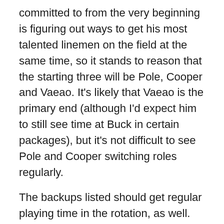committed to from the very beginning is figuring out ways to get his most talented linemen on the field at the same time, so it stands to reason that the starting three will be Pole, Cooper and Vaeao. It's likely that Vaeao is the primary end (although I'd expect him to still see time at Buck in certain packages), but it's not difficult to see Pole and Cooper switching roles regularly.
The backups listed should get regular playing time in the rotation, as well. Barber found it difficult to break in behind Gauta last season, but he did see some meaningful snaps, and both Paulo and Faoliu saw their playing time increase as the season went on. Faoliu, in particular, could make some noise this year as a guy in that magical second year after a junior college transfer.